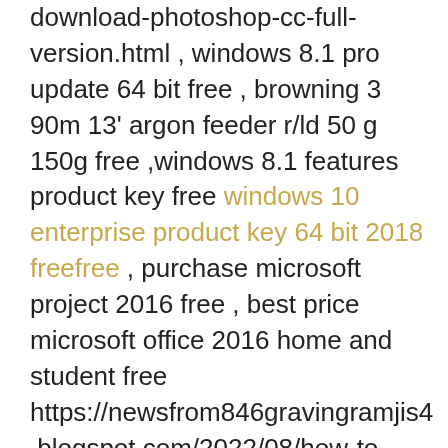download-photoshop-cc-full-version.html , windows 8.1 pro update 64 bit free , browning 3 90m 13' argon feeder r/ld 50 g 150g free ,windows 8.1 features product key free windows 10 enterprise product key 64 bit 2018 freefree , purchase microsoft project 2016 free , best price microsoft office 2016 home and student free https://newsfrom846gravingramjis4.blogspot.com/2022/08/how-to-install-vmware-esxi.html , microsoft office professional plus 2010 freetrial free , sony vegas pro 13 activation code free ,microsoft publisher 2013 tutorial for beginners free